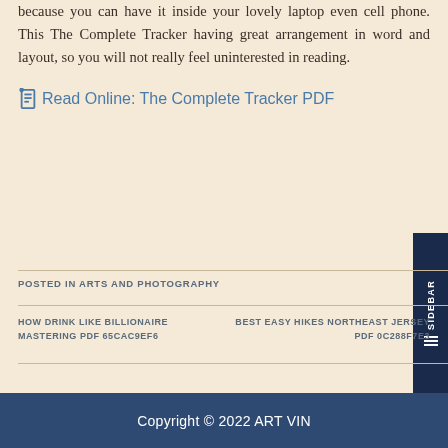because you can have it inside your lovely laptop even cell phone. This The Complete Tracker having great arrangement in word and layout, so you will not really feel uninterested in reading.
Read Online: The Complete Tracker PDF
POSTED IN ARTS AND PHOTOGRAPHY
HOW DRINK LIKE BILLIONAIRE MASTERING PDF 65CAC9EF6
BEST EASY HIKES NORTHEAST JERSEY PDF 0C288F7E3
Copyright © 2022 ART VIN